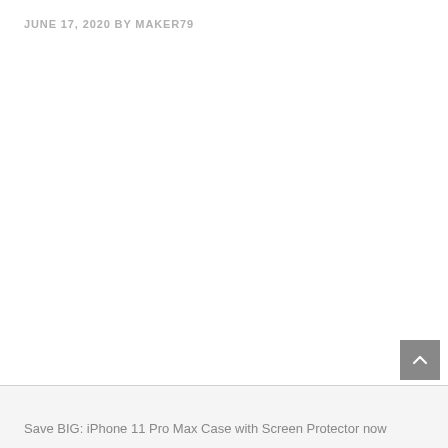JUNE 17, 2020 BY MAKER79
Save BIG: iPhone 11 Pro Max Case with Screen Protector now